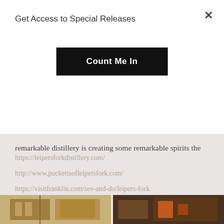Get Access to Special Releases
Count Me In
remarkable distillery is creating some remarkable spirits the traditional way, with love and pride.
Mike (Big Chief)
https://leipersforkdistillery.com/
http://www.puckettsofleipersfork.com/
https://visitfranklin.com/see-and-do/leipers-fork
[Figure (photo): Two thumbnail photos of the distillery interior showing wooden structures]